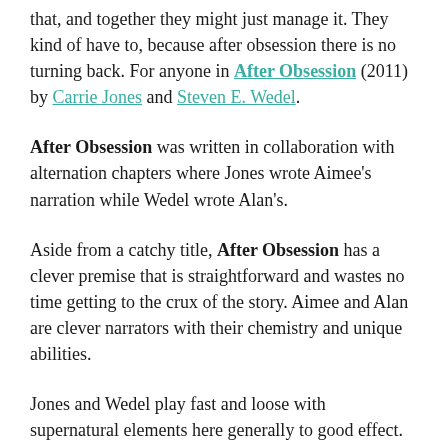that, and together they might just manage it. They kind of have to, because after obsession there is no turning back. For anyone in After Obsession (2011) by Carrie Jones and Steven E. Wedel.
After Obsession was written in collaboration with alternation chapters where Jones wrote Aimee's narration while Wedel wrote Alan's.
Aside from a catchy title, After Obsession has a clever premise that is straightforward and wastes no time getting to the crux of the story. Aimee and Alan are clever narrators with their chemistry and unique abilities.
Jones and Wedel play fast and loose with supernatural elements here generally to good effect. Aimee has visions and can heal people (which no one at all seems to find odd). Alan is half Navajo and has a spirit guide and is a spirit warrior (and also apparently completely embraces a